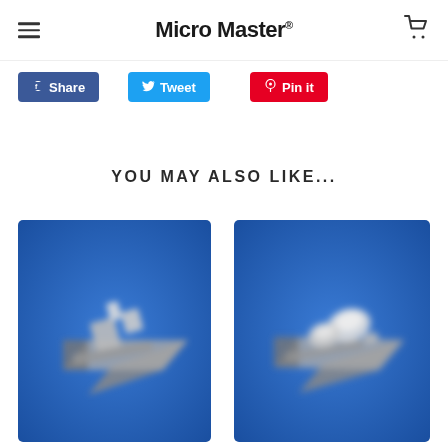Micro Master®
Share
Tweet
Pin it
YOU MAY ALSO LIKE...
[Figure (photo): Product image on blue background — metallic hardware components on a square base, blurred]
[Figure (photo): Product image on blue background — metallic hardware components on a square base, blurred]